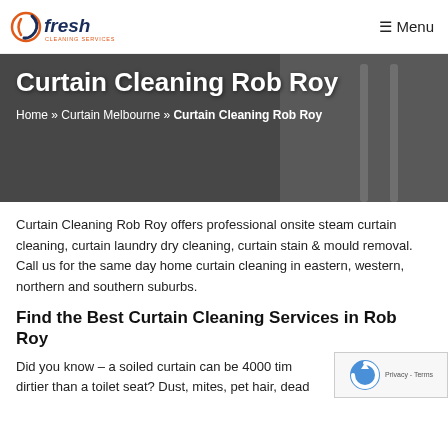Fresh Cleaning Services — Menu
[Figure (illustration): Hero banner image showing curtain cleaning equipment with dark overlay. Title: Curtain Cleaning Rob Roy. Breadcrumb: Home » Curtain Melbourne » Curtain Cleaning Rob Roy]
Curtain Cleaning Rob Roy
Home » Curtain Melbourne » Curtain Cleaning Rob Roy
Curtain Cleaning Rob Roy offers professional onsite steam curtain cleaning, curtain laundry dry cleaning, curtain stain & mould removal. Call us for the same day home curtain cleaning in eastern, western, northern and southern suburbs.
Find the Best Curtain Cleaning Services in Rob Roy
Did you know – a soiled curtain can be 4000 times dirtier than a toilet seat? Dust, mites, pet hair, dead